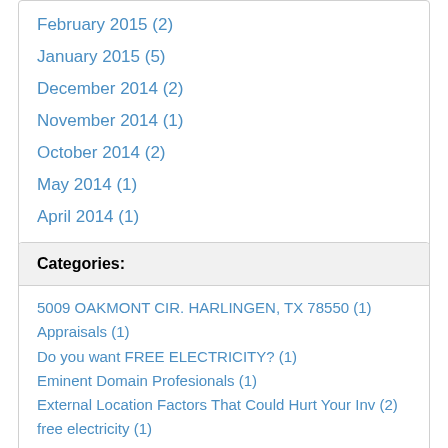February 2015 (2)
January 2015 (5)
December 2014 (2)
November 2014 (1)
October 2014 (2)
May 2014 (1)
April 2014 (1)
Categories:
5009 OAKMONT CIR. HARLINGEN, TX 78550 (1)
Appraisals (1)
Do you want FREE ELECTRICITY? (1)
Eminent Domain Profesionals (1)
External Location Factors That Could Hurt Your Inv (2)
free electricity (1)
General (9)
HIGHWAY EXPANSION DAMAGES TO PROPERTY OWNERS (1)